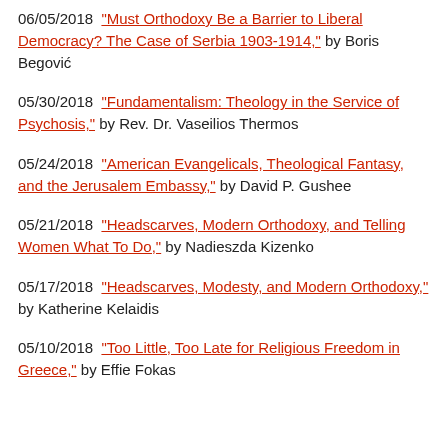06/05/2018 "Must Orthodoxy Be a Barrier to Liberal Democracy? The Case of Serbia 1903-1914," by Boris Begović
05/30/2018 "Fundamentalism: Theology in the Service of Psychosis," by Rev. Dr. Vaseilios Thermos
05/24/2018 "American Evangelicals, Theological Fantasy, and the Jerusalem Embassy," by David P. Gushee
05/21/2018 "Headscarves, Modern Orthodoxy, and Telling Women What To Do," by Nadieszda Kizenko
05/17/2018 "Headscarves, Modesty, and Modern Orthodoxy," by Katherine Kelaidis
05/10/2018 "Too Little, Too Late for Religious Freedom in Greece?" by Effie Fokas